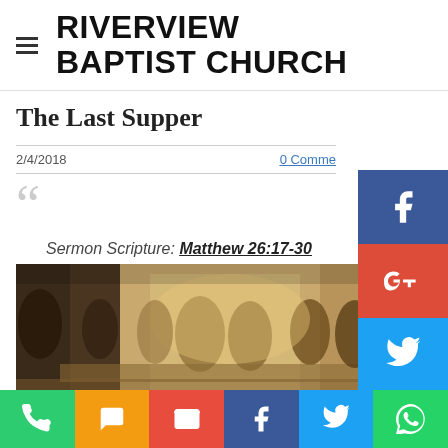RIVERVIEW BAPTIST CHURCH
The Last Supper
2/4/2018
0 Comments
Sermon Scripture: Matthew 26:17-30
[Figure (photo): A dark painting of the Last Supper scene, showing shadowy figures in historical/biblical style with warm golden-brown tones]